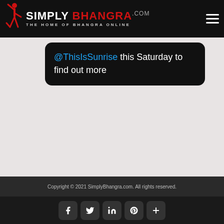SIMPLY BHANGRA .COM — THE HOME OF BHANGRA ONLINE
@ThisIsSunrise this Saturday to find out more
Copyright © 2021 SimplyBhangra.com. All rights reserved.